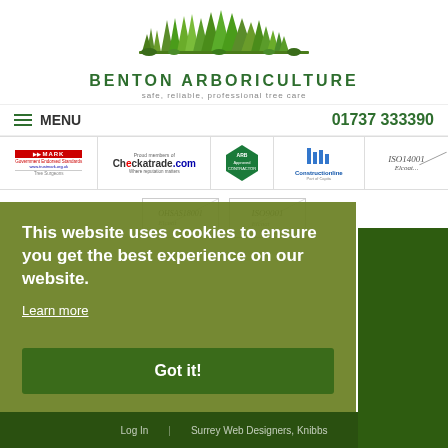[Figure (logo): Benton Arboriculture logo with illustrated trees in green]
BENTON ARBORICULTURE
safe, reliable, professional tree care
MENU   01737 333390
[Figure (infographic): Trust mark and certification badge strip: MARK Government Endorsed Standards, Checkatrade.com, ARB Approved Contractor, Constructionline, ISO14001 Elcoat]
[Figure (infographic): Certification logos: OHSAS18001 Elcoat, ISO9001 Elcoat]
This website uses cookies to ensure you get the best experience on our website.
Learn more
Got it!
© 2022 Benton Arboriculture
Log In  |  Surrey Web Designers, Knibbs